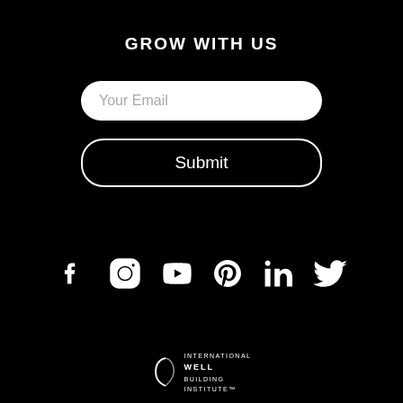GROW WITH US
[Figure (screenshot): Email input field with placeholder text 'Your Email', white background, rounded pill shape]
[Figure (screenshot): Submit button with white border, rounded pill shape, black background, white text 'Submit']
[Figure (infographic): Row of 6 white social media icons on black background: Facebook, Instagram, YouTube, Pinterest, LinkedIn, Twitter]
[Figure (logo): International WELL Building Institute logo with crescent/globe icon and text: INTERNATIONAL WELL BUILDING INSTITUTE trademark symbol]